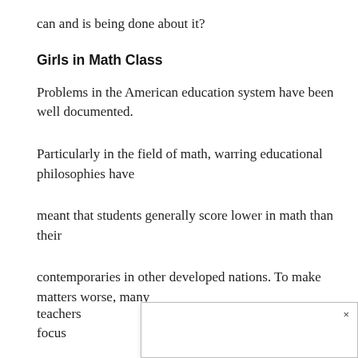can and is being done about it?
Girls in Math Class
Problems in the American education system have been well documented.
Particularly in the field of math, warring educational philosophies have
meant that students generally score lower in math than their
contemporaries in other developed nations. To make matters worse, many
teachers … 't focus